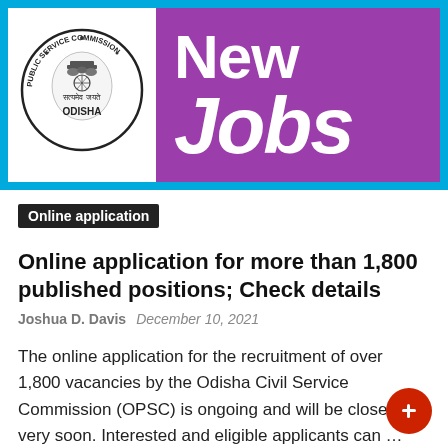[Figure (logo): Odisha Public Service Commission logo with 'New Jobs' text on purple and blue banner]
Online application
Online application for more than 1,800 published positions; Check details
Joshua D. Davis   December 10, 2021
The online application for the recruitment of over 1,800 vacancies by the Odisha Civil Service Commission (OPSC) is ongoing and will be closed very soon. Interested and eligible applicants can …
READ MORE
application fee  _  deadline submitting  _  official website  _